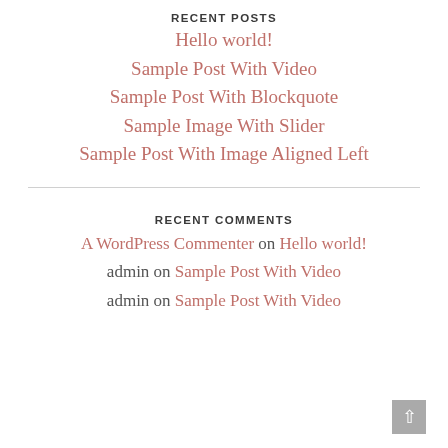RECENT POSTS
Hello world!
Sample Post With Video
Sample Post With Blockquote
Sample Image With Slider
Sample Post With Image Aligned Left
RECENT COMMENTS
A WordPress Commenter on Hello world!
admin on Sample Post With Video
admin on Sample Post With Video